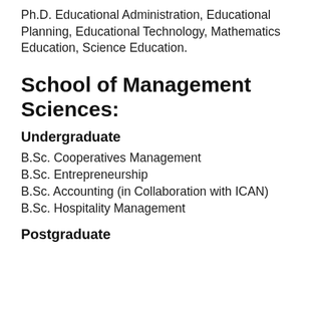Ph.D. Educational Administration, Educational Planning, Educational Technology, Mathematics Education, Science Education.
School of Management Sciences:
Undergraduate
B.Sc. Cooperatives Management
B.Sc. Entrepreneurship
B.Sc. Accounting (in Collaboration with ICAN)
B.Sc. Hospitality Management
Postgraduate